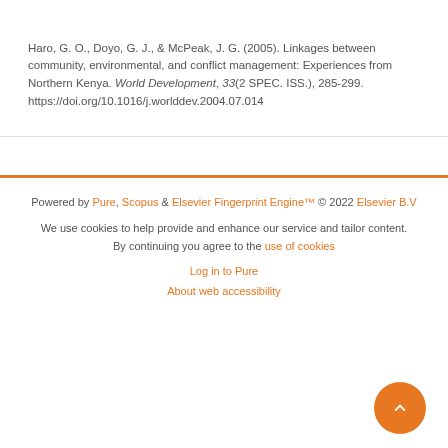Haro, G. O., Doyo, G. J., & McPeak, J. G. (2005). Linkages between community, environmental, and conflict management: Experiences from Northern Kenya. World Development, 33(2 SPEC. ISS.), 285-299. https://doi.org/10.1016/j.worlddev.2004.07.014
Powered by Pure, Scopus & Elsevier Fingerprint Engine™ © 2022 Elsevier B.V
We use cookies to help provide and enhance our service and tailor content. By continuing you agree to the use of cookies
Log in to Pure
About web accessibility